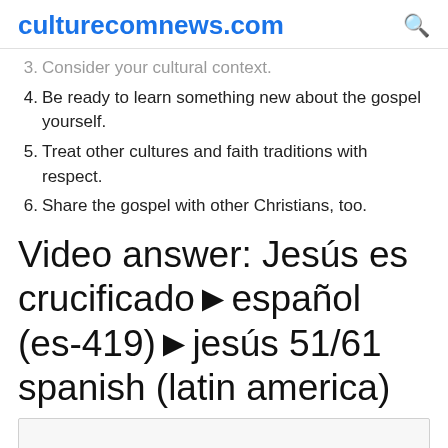culturecomnews.com
3. Consider your cultural context.
4. Be ready to learn something new about the gospel yourself.
5. Treat other cultures and faith traditions with respect.
6. Share the gospel with other Christians, too.
Video answer: Jesús es crucificado►español (es-419)►jesús 51/61 spanish (latin america)
[Figure (other): Video thumbnail placeholder box at the bottom of the page]